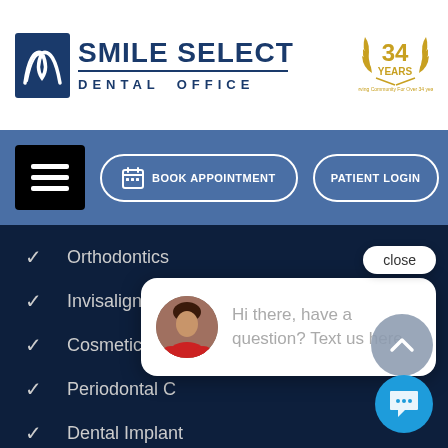[Figure (logo): Smile Select Dental Office logo with tooth/swoosh icon and blue text]
[Figure (logo): 34 Years badge with gold laurel wreath]
[Figure (screenshot): Navigation bar with hamburger menu, Book Appointment button, and Patient Login button on blue background]
Orthodontics
Invisalign®
Cosmetic Dentistry
Periodontal Care
Dental Implants
Dental Veneers
Hi there, have a question? Text us here.